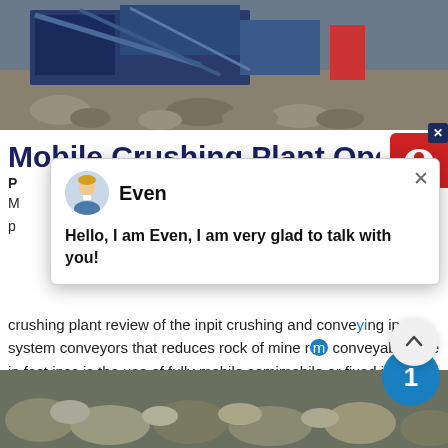[Figure (photo): Mobile crushing plant machinery and equipment at a mining/quarry site with rocks in foreground]
Mobile Crushing Plant Oper...
[Figure (screenshot): Live chat popup with avatar of agent 'Even' and message: Hello, I am Even, I am very glad to talk with you!]
crushing plant review of the inpit crushing and conveying ipcc system conveyors that reduces rock of mine r... conveyable size in fact ipcc is the use of fully mobile semimobile or fixed inpit crushers coupled with conveyors and spreaders for waste or stackers.
[Figure (photo): Close-up of crushed rocks and stones at mining site]